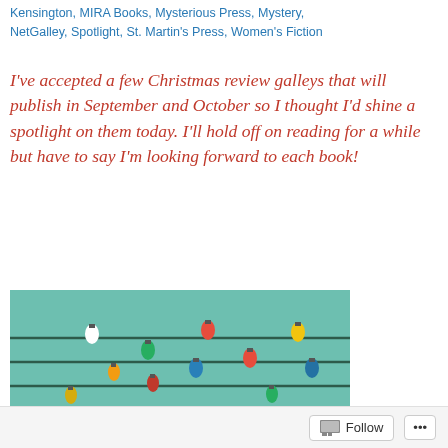Kensington, MIRA Books, Mysterious Press, Mystery, NetGalley, Spotlight, St. Martin's Press, Women's Fiction
I've accepted a few Christmas review galleys that will publish in September and October so I thought I'd shine a spotlight on them today. I'll hold off on reading for a while but have to say I'm looking forward to each book!
[Figure (illustration): Book cover featuring a teal/mint green background with horizontal dark lines resembling music staff lines decorated with colorful Christmas lights. Large red serif text reads 'mary kay andrews' at the bottom.]
Follow ...